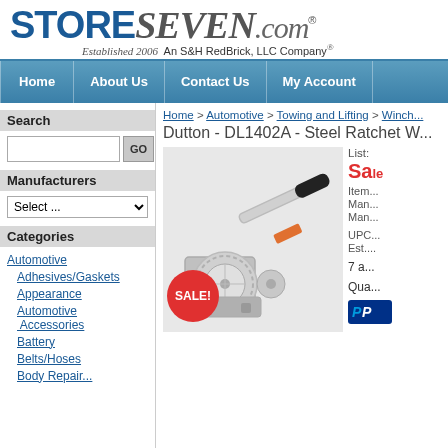[Figure (logo): StoreSeven.com logo with tagline: Established 2006 An S&H RedBrick, LLC Company]
Home | About Us | Contact Us | My Account
Search
Manufacturers
Categories
Automotive
Adhesives/Gaskets
Appearance
Automotive Accessories
Battery
Belts/Hoses
Home > Automotive > Towing and Lifting > Winch...
Dutton - DL1402A - Steel Ratchet W...
[Figure (photo): Steel ratchet winch product photo with SALE! badge]
List price
Sale price
Item...
Man...
Man...
UPC...
Est....
7 a...
Qua...
[Figure (logo): PayPal button]